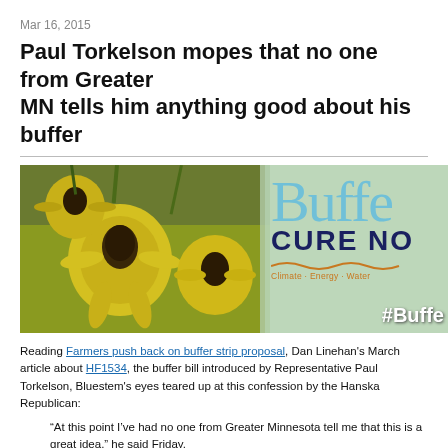Mar 16, 2015
Paul Torkelson mopes that no one from Greater MN tells him anything good about his buffer bill
[Figure (photo): Photo of yellow coneflowers/rudbeckia with a CURE NOW overlay graphic showing 'Buffe[r]' in light blue, 'CURE NO[W]' in dark navy, 'Climate · Energy · Water' tagline, and '#Buffe[r]' hashtag]
Reading Farmers push back on buffer strip proposal, Dan Linehan's March article about HF1534, the buffer bill introduced by Representative Paul Torkelson, Bluestem's eyes teared up at this confession by the Hanska Republican:
“At this point I’ve had no one from Greater Minnesota tell me that this is a great idea,” he said Friday.
“I also want to send a message that we in the agriculture community anti-buffer,” Torkelson said.